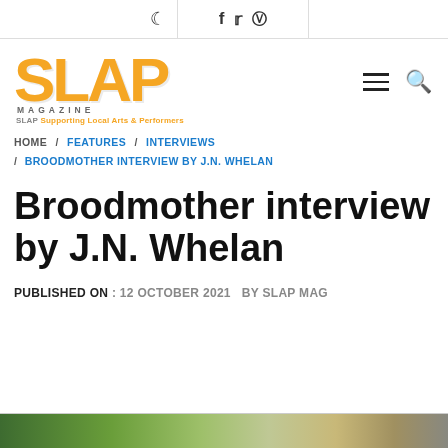SLAP Magazine – top bar with social icons
[Figure (logo): SLAP Magazine logo in orange with tagline 'SLAP Supporting Local Arts & Performers']
HOME / FEATURES / INTERVIEWS / BROODMOTHER INTERVIEW BY J.N. WHELAN
Broodmother interview by J.N. Whelan
PUBLISHED ON : 12 OCTOBER 2021   BY SLAP MAG
[Figure (photo): Partial photo at the bottom of the page, partially cut off]